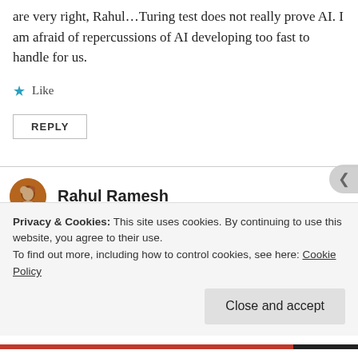are very right, Rahul...Turing test does not really prove AI. I am afraid of repercussions of AI developing too fast to handle for us.
★ Like
REPLY
Rahul Ramesh
June 10, 2014 at 4:13 pm
Well, if you ask me, I would say that part of
Privacy & Cookies: This site uses cookies. By continuing to use this website, you agree to their use.
To find out more, including how to control cookies, see here: Cookie Policy
Close and accept